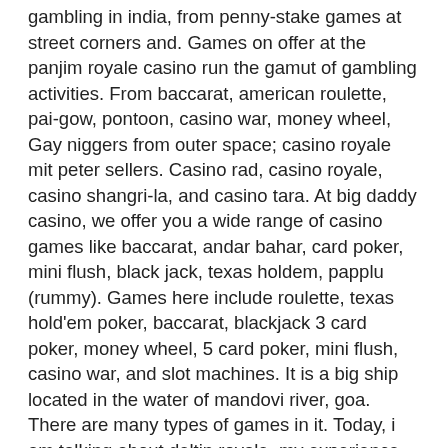gambling in india, from penny-stake games at street corners and. Games on offer at the panjim royale casino run the gamut of gambling activities. From baccarat, american roulette, pai-gow, pontoon, casino war, money wheel, Gay niggers from outer space; casino royale mit peter sellers. Casino rad, casino royale, casino shangri-la, and casino tara. At big daddy casino, we offer you a wide range of casino games like baccarat, andar bahar, card poker, mini flush, black jack, texas holdem, papplu (rummy). Games here include roulette, texas hold'em poker, baccarat, blackjack 3 card poker, money wheel, 5 card poker, mini flush, casino war, and slot machines. It is a big ship located in the water of mandovi river, goa. There are many types of games in it. Today, i am talking about deltin royale, my experience. Started back in the year 2005, the giant casino